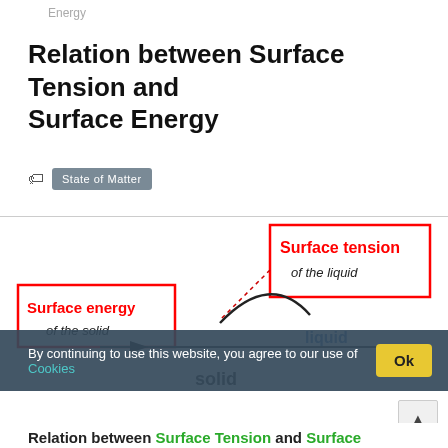Energy
Relation between Surface Tension and Surface Energy
State of Matter
[Figure (illustration): Diagram showing surface tension of a liquid at a solid-liquid interface. A red-bordered box labels 'Surface tension of the liquid' (top right), and another red-bordered box labels 'Surface energy of the solid' (left). A curved line represents a liquid droplet on a solid surface. Double-headed arrow shows the liquid boundary. Labels 'liquid' and 'solid' mark respective regions.]
By continuing to use this website, you agree to our use of Cookies
Relation between Surface Tension and Surface Energy